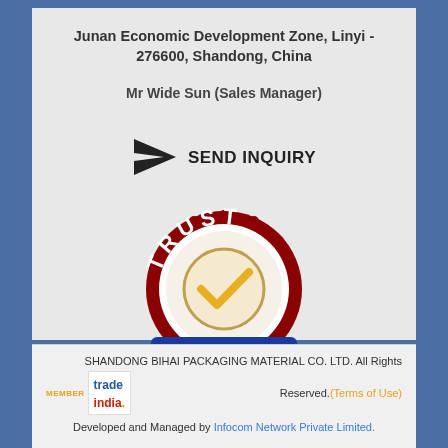Junan Economic Development Zone, Linyi - 276600, Shandong, China
Mr Wide Sun (Sales Manager)
[Figure (infographic): Send Inquiry button with paper plane icon and bold text 'SEND INQUIRY']
[Figure (logo): Trust Stamp badge: circular red badge with white text 'TRUST' on top arc, blue banner with 'STAMP' at bottom, and yellow checkmark in center circle]
SHANDONG BIHAI PACKAGING MATERIAL CO. LTD. All Rights Reserved.(Terms of Use)
[Figure (logo): TradeIndia member logo with orange 'MEMBER' text and trade/india branding]
Developed and Managed by Infocom Network Private Limited.